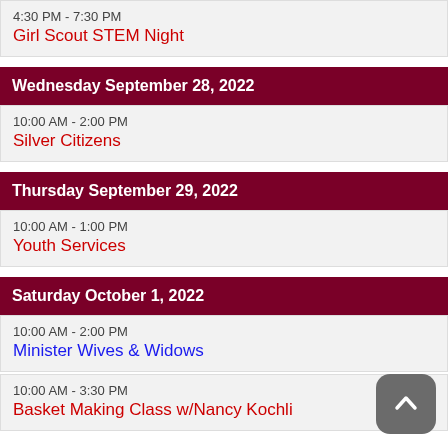4:30 PM - 7:30 PM
Girl Scout STEM Night
Wednesday September 28, 2022
10:00 AM - 2:00 PM
Silver Citizens
Thursday September 29, 2022
10:00 AM - 1:00 PM
Youth Services
Saturday October 1, 2022
10:00 AM - 2:00 PM
Minister Wives & Widows
10:00 AM - 3:30 PM
Basket Making Class w/Nancy Kochli